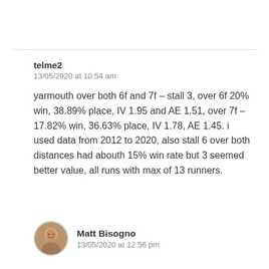telme2
13/05/2020 at 10:54 am
yarmouth over both 6f and 7f – stall 3, over 6f 20% win, 38.89% place, IV 1.95 and AE 1.51, over 7f – 17.82% win, 36.63% place, IV 1.78, AE 1.45. i used data from 2012 to 2020, also stall 6 over both distances had abouth 15% win rate but 3 seemed better value, all runs with max of 13 runners.
[Figure (photo): Circular avatar photo of Matt Bisogno, a man smiling]
Matt Bisogno
13/05/2020 at 12:56 pm